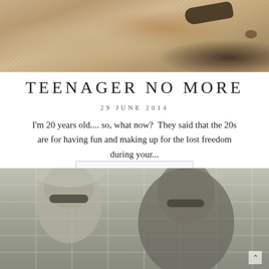[Figure (photo): Top photo showing sand ground with a dark shoe visible at top right]
TEENAGER NO MORE
29 JUNE 2014
I'm 20 years old.... so, what now?  They said that the 20s are for having fun and making up for the lost freedom during your...
READ ARTICLE
[Figure (photo): Bottom photo showing two people wearing sunglasses and head scarves, reflected or overlaid with a grid-window pattern]